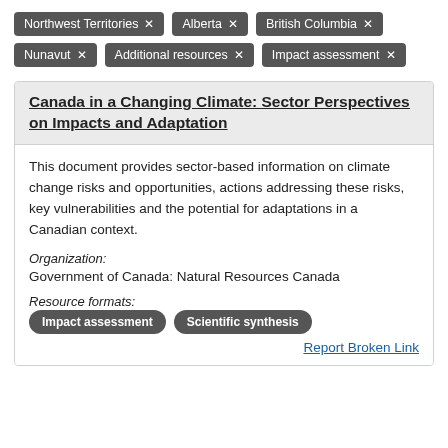Northwest Territories ✕
Alberta ✕
British Columbia ✕
Nunavut ✕
Additional resources ✕
Impact assessment ✕
Canada in a Changing Climate: Sector Perspectives on Impacts and Adaptation
This document provides sector-based information on climate change risks and opportunities, actions addressing these risks, key vulnerabilities and the potential for adaptations in a Canadian context.
Organization:
Government of Canada: Natural Resources Canada
Resource formats:
Impact assessment
Scientific synthesis
Report Broken Link